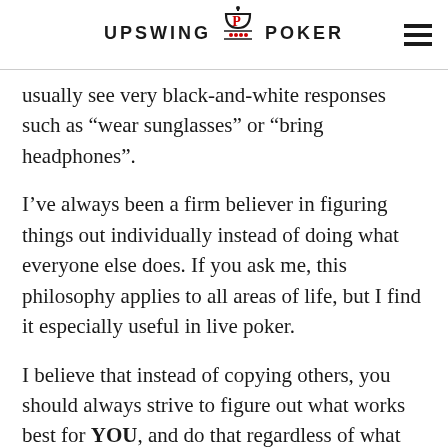UPSWING POKER
usually see very black-and-white responses such as “wear sunglasses” or “bring headphones”.
I’ve always been a firm believer in figuring things out individually instead of doing what everyone else does. If you ask me, this philosophy applies to all areas of life, but I find it especially useful in live poker.
I believe that instead of copying others, you should always strive to figure out what works best for YOU, and do that regardless of what others are doing.